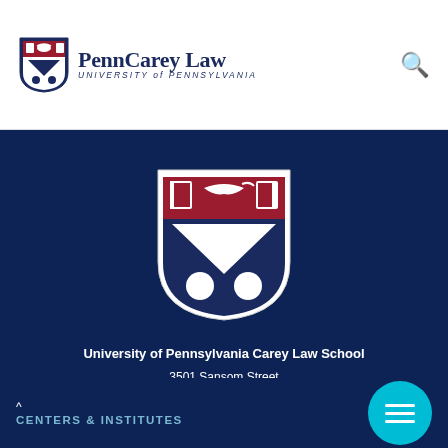[Figure (logo): Penn Carey Law, University of Pennsylvania shield logo and wordmark in navy blue]
[Figure (illustration): University of Pennsylvania shield/crest — red top band with open books and a dolphin, blue chevron with white circles on white background]
University of Pennsylvania Carey Law School
3501 Sansom Street
Philadelphia, PA 19104
215.898.7483
CENTERS & INSTITUTES